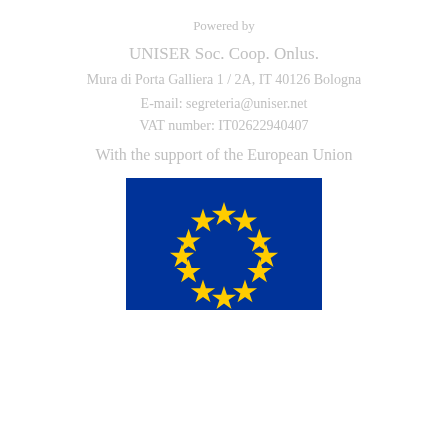Powered by
UNISER Soc. Coop. Onlus.
Mura di Porta Galliera 1 / 2A, IT 40126 Bologna
E-mail: segreteria@uniser.net
VAT number: IT02622940407
With the support of the European Union
[Figure (illustration): European Union flag: blue rectangle with 12 yellow five-pointed stars arranged in a circle]